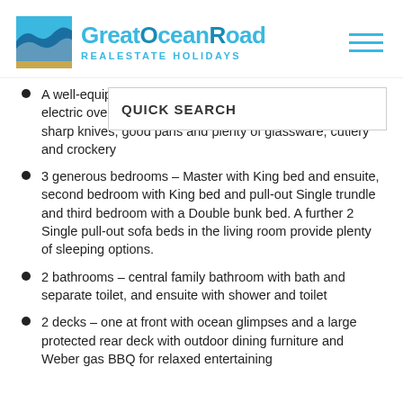[Figure (logo): Great Ocean Road Real Estate Holidays logo with wave icon in blue and gold]
A well-equipped kitchen – induction stove, walk-in pantry, electric oven, Breville Barista Express coffee machine, sharp knives, good pans and plenty of glassware, cutlery and crockery
3 generous bedrooms – Master with King bed and ensuite, second bedroom with King bed and pull-out Single trundle and third bedroom with a Double bunk bed. A further 2 Single pull-out sofa beds in the living room provide plenty of sleeping options.
2 bathrooms – central family bathroom with bath and separate toilet, and ensuite with shower and toilet
2 decks – one at front with ocean glimpses and a large protected rear deck with outdoor dining furniture and Weber gas BBQ for relaxed entertaining